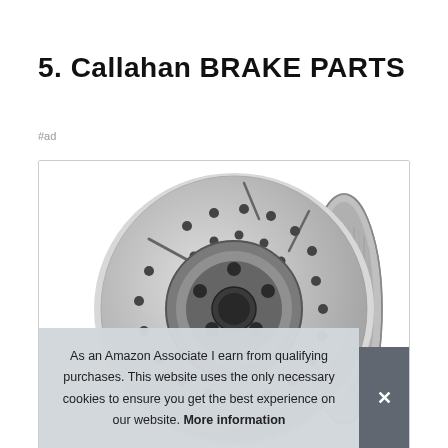5. Callahan BRAKE PARTS
#ad
[Figure (photo): Two brake rotors/discs (drilled and slotted) shown against a white background. One large rotor facing front-on, one smaller rotor shown at an angle from the side.]
As an Amazon Associate I earn from qualifying purchases. This website uses the only necessary cookies to ensure you get the best experience on our website. More information